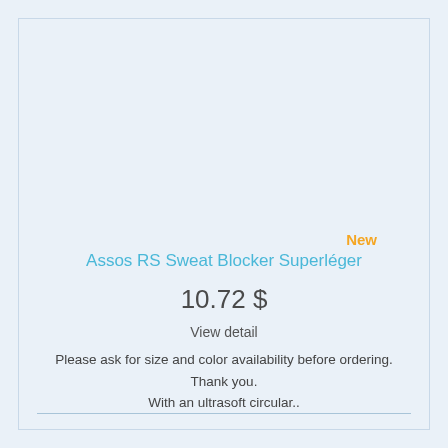New
Assos RS Sweat Blocker Superléger
10.72 $
View detail
Please ask for size and color availability before ordering. Thank you. With an ultrasoft circular..